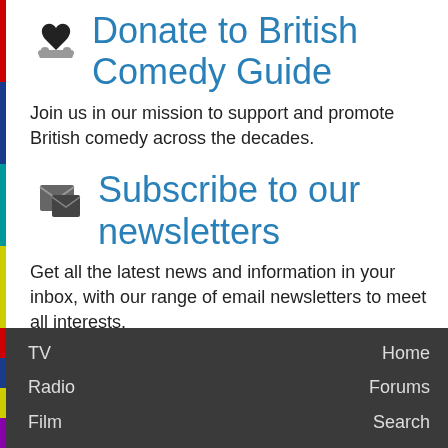Donate to British Comedy Guide
Join us in our mission to support and promote British comedy across the decades.
Subscribe to our newsletters
Get all the latest news and information in your inbox, with our range of email newsletters to meet all interests.
TV | Radio | Film | Home | Forums | Search